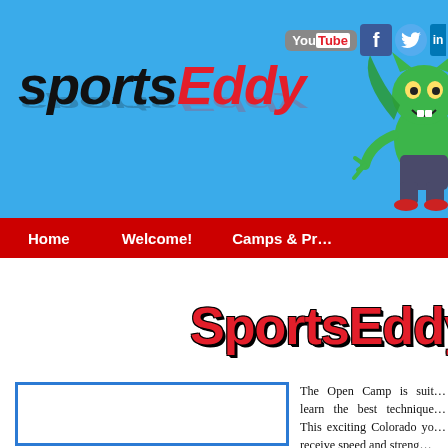sportsEddy - header banner with mascot and social icons
sportsEddy
[Figure (illustration): Green goblin/imp mascot with wings, claws, wearing jeans and red shoes]
[Figure (logo): YouTube button, Facebook icon, Twitter bird icon, LinkedIn icon (partial)]
Home   Welcome!   Camps & Pr...
SportsEddy &
[Figure (photo): Blue bordered photo placeholder box]
The Open Camp is suit... learn the best technique... This exciting Colorado yo... receive speed and streng...